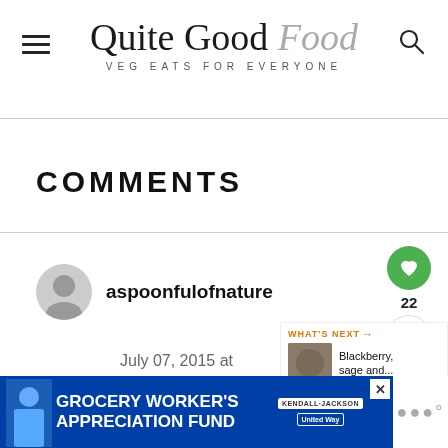Quite Good Food — VEG EATS FOR EVERYONE
COMMENTS
aspoonfulofnature
July 07, 2015 at
WHAT'S NEXT → Blackberry, sage and...
[Figure (screenshot): Grocery Worker's Appreciation Fund advertisement banner with Kendall-Jackson and United Way logos]